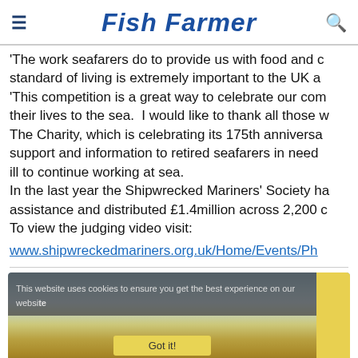Fish Farmer
'The work seafarers do to provide us with food and our standard of living is extremely important to the UK a… 'This competition is a great way to celebrate our com… their lives to the sea.  I would like to thank all those w… The Charity, which is celebrating its 175th anniversa… support and information to retired seafarers in need… ill to continue working at sea.
In the last year the Shipwrecked Mariners' Society ha… assistance and distributed £1.4million across 2,200 c…
To view the judging video visit:
www.shipwreckedmariners.org.uk/Home/Events/Ph…
[Figure (screenshot): Cookie consent banner overlaid on a coastal landscape photo. Banner text reads: 'This website uses cookies to ensure you get the best experience on our website' with a 'Got it!' button.]